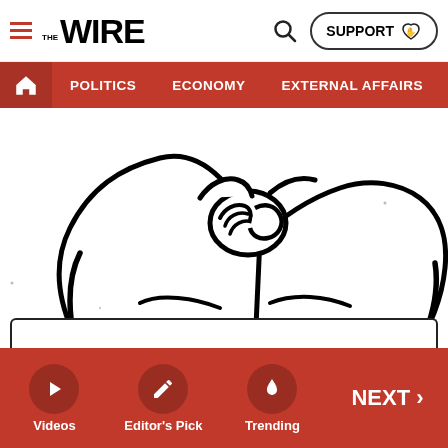THE WIRE | SUPPORT | Search
POLITICS | ECONOMY | EXTERNAL AFFAIRS | SECU...
[Figure (illustration): Black ink line drawing showing a close-up of hands clasped together, with draped fabric/clothing around them. Sketch/editorial illustration style on white background.]
Videos | Editor's Pick | Trending | NEXT >